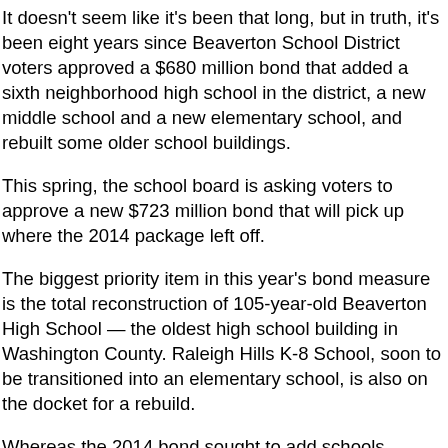It doesn't seem like it's been that long, but in truth, it's been eight years since Beaverton School District voters approved a $680 million bond that added a sixth neighborhood high school in the district, a new middle school and a new elementary school, and rebuilt some older school buildings.
This spring, the school board is asking voters to approve a new $723 million bond that will pick up where the 2014 package left off.
The biggest priority item in this year's bond measure is the total reconstruction of 105-year-old Beaverton High School — the oldest high school building in Washington County. Raleigh Hills K-8 School, soon to be transitioned into an elementary school, is also on the docket for a rebuild.
Whereas the 2014 bond sought to add schools, increasing the district's capacity to handle growth in South Cooper Mountain and North Bethany, this year's bond is focused on rebuilding and modernizing existing facilities. It includes money to seismically retrofit several district schools that aren't rated to withstand the inevitable Cascadia subduction